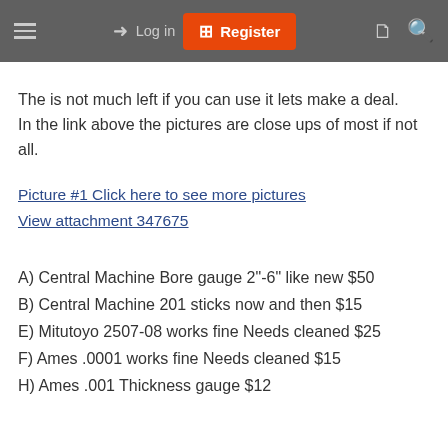Log in | Register
The is not much left if you can use it lets make a deal. In the link above the pictures are close ups of most if not all.
Picture #1 Click here to see more pictures
View attachment 347675
A) Central Machine Bore gauge 2"-6" like new $50
B) Central Machine 201 sticks now and then $15
E) Mitutoyo 2507-08 works fine Needs cleaned $25
F) Ames .0001 works fine Needs cleaned $15
H) Ames .001 Thickness gauge $12